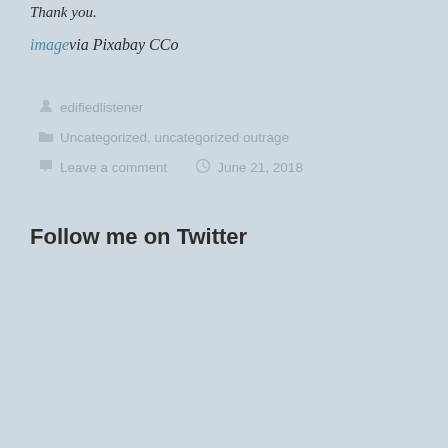Thank you.
image via Pixabay CCo
edifiedlistener
Uncategorized, uncategorized outrage
Leave a comment   June 21, 2018
Follow me on Twitter